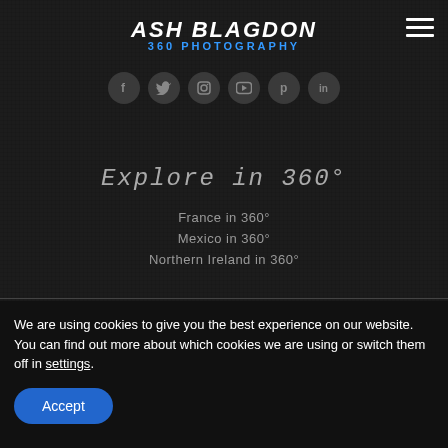ASH BLAGDON 360 PHOTOGRAPHY
[Figure (logo): Ash Blagdon 360 Photography logo with white italic text for name and blue text for subtitle, with hamburger menu icon top right]
[Figure (infographic): Social media icons row: Facebook, Twitter, Instagram, YouTube, Pinterest, LinkedIn - circular dark buttons]
Explore in 360°
France in 360°
Mexico in 360°
Northern Ireland in 360°
We are using cookies to give you the best experience on our website.
You can find out more about which cookies we are using or switch them off in settings.
Accept